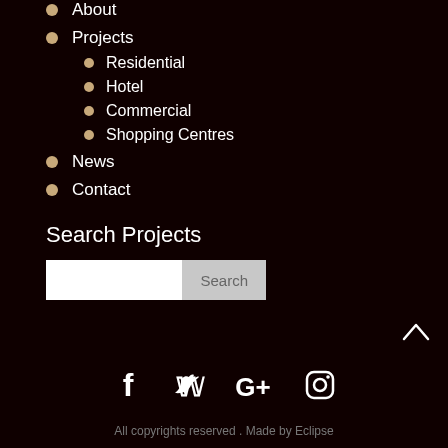About
Projects
Residential
Hotel
Commercial
Shopping Centres
News
Contact
Search Projects
[Figure (other): Search input box with Search button]
[Figure (other): Chevron up arrow icon]
[Figure (other): Social media icons: Facebook, Twitter, Google+, Instagram]
All copyrights reserved . Made by Eclipse